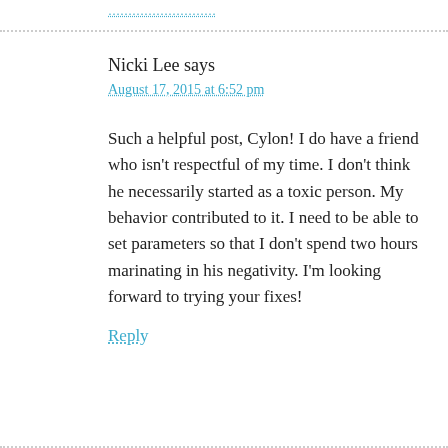………………………
Nicki Lee says
August 17, 2015 at 6:52 pm
Such a helpful post, Cylon! I do have a friend who isn't respectful of my time. I don't think he necessarily started as a toxic person. My behavior contributed to it. I need to be able to set parameters so that I don't spend two hours marinating in his negativity. I'm looking forward to trying your fixes!
Reply